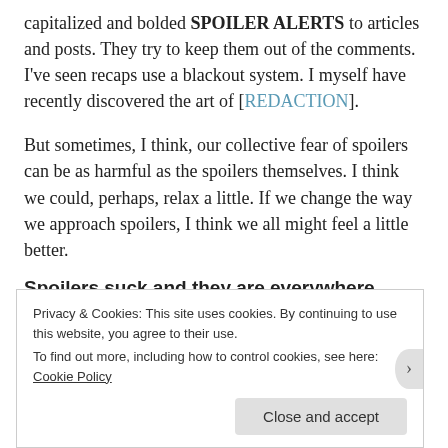capitalized and bolded SPOILER ALERTS to articles and posts. They try to keep them out of the comments. I've seen recaps use a blackout system. I myself have recently discovered the art of [REDACTION].
But sometimes, I think, our collective fear of spoilers can be as harmful as the spoilers themselves. I think we could, perhaps, relax a little. If we change the way we approach spoilers, I think we all might feel a little better.
Spoilers suck and they are everywhere
Okay let's start by agreeing that spoilers are the worst.
Privacy & Cookies: This site uses cookies. By continuing to use this website, you agree to their use. To find out more, including how to control cookies, see here: Cookie Policy